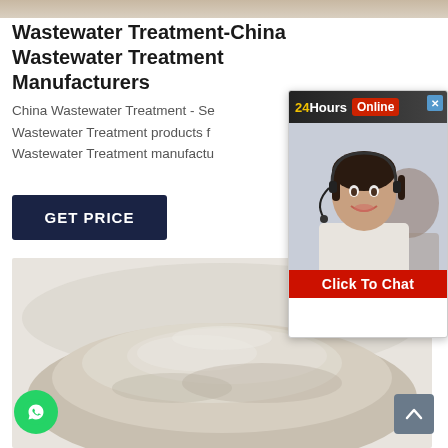[Figure (photo): Top image strip showing blurred background]
Wastewater Treatment-China Wastewater Treatment Manufacturers
China Wastewater Treatment - Select Wastewater Treatment products from verified Wastewater Treatment manufacturers,
[Figure (other): GET PRICE dark navy button]
[Figure (photo): Product photo: close-up of a bowl containing fine light-colored powder]
[Figure (other): Live chat popup overlay with 24Hours Online badge, customer service representative photo, and Click To Chat red button]
[Figure (logo): WhatsApp green circular button at bottom left]
[Figure (other): Scroll-to-top grey button at bottom right]